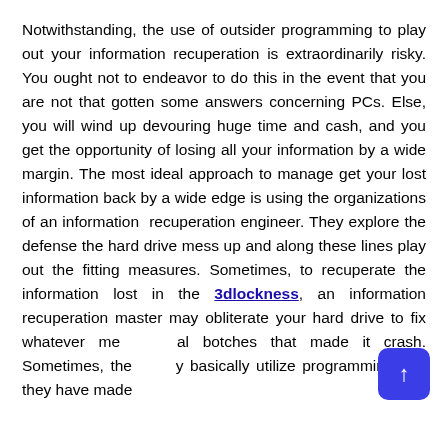Notwithstanding, the use of outsider programming to play out your information recuperation is extraordinarily risky. You ought not to endeavor to do this in the event that you are not that gotten some answers concerning PCs. Else, you will wind up devouring huge time and cash, and you get the opportunity of losing all your information by a wide margin. The most ideal approach to manage get your lost information back by a wide edge is using the organizations of an information recuperation engineer. They explore the defense the hard drive mess up and along these lines play out the fitting measures. Sometimes, to recuperate the information lost in the 3dlockness, an information recuperation master may obliterate your hard drive to fix whatever mechanical botches that made it crash. Sometimes, they may basically utilize programming that they have made